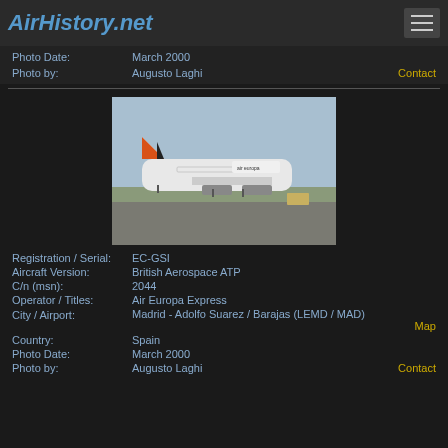AirHistory.net
Photo Date: March 2000
Photo by: Augusto Laghi  Contact
[Figure (photo): Air Europa Express British Aerospace ATP aircraft with registration EC-GSI parked on tarmac at Madrid - Adolfo Suarez / Barajas airport. White fuselage with orange/red tail livery.]
Registration / Serial: EC-GSI
Aircraft Version: British Aerospace ATP
C/n (msn): 2044
Operator / Titles: Air Europa Express
City / Airport: Madrid - Adolfo Suarez / Barajas (LEMD / MAD) Map
Country: Spain
Photo Date: March 2000
Photo by: Augusto Laghi  Contact